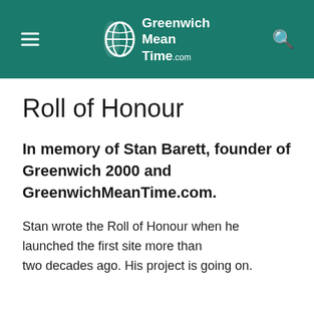Greenwich Mean Time .com
Roll of Honour
In memory of Stan Barett, founder of Greenwich 2000 and GreenwichMeanTime.com.
Stan wrote the Roll of Honour when he launched the first site more than two decades ago. His project is going on.